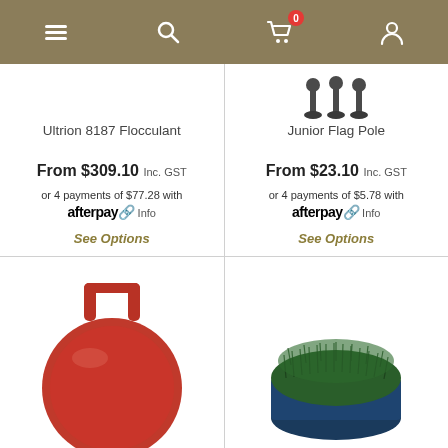Navigation bar with menu, search, cart (0 items), and account icons
Ultrion 8187 Flocculant
From $309.10 Inc. GST
or 4 payments of $77.28 with afterpay Info
See Options
Junior Flag Pole
From $23.10 Inc. GST
or 4 payments of $5.78 with afterpay Info
See Options
[Figure (photo): Red round tank lock / cap with handle]
[Figure (photo): Dark green grass seeds in a round pot/container]